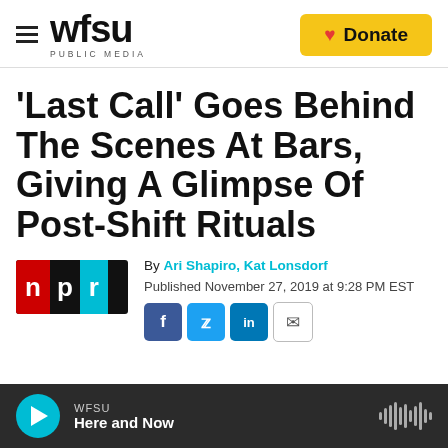WFSU PUBLIC MEDIA — Donate
'Last Call' Goes Behind The Scenes At Bars, Giving A Glimpse Of Post-Shift Rituals
By Ari Shapiro, Kat Lonsdorf
Published November 27, 2019 at 9:28 PM EST
WFSU Here and Now